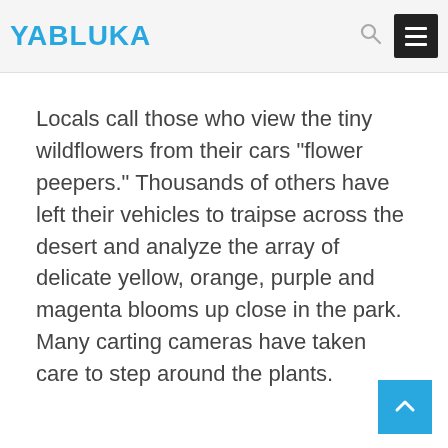YABLUKA
Locals call those who view the tiny wildflowers from their cars “flower peepers.” Thousands of others have left their vehicles to traipse across the desert and analyze the array of delicate yellow, orange, purple and magenta blooms up close in the park. Many carting cameras have taken care to step around the plants.